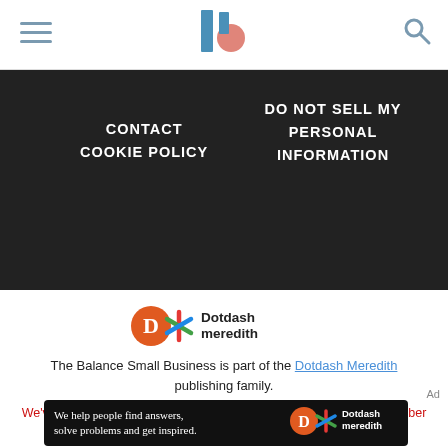The Balance Small Business — navigation header with hamburger menu, logo, and search icon
CONTACT
COOKIE POLICY
DO NOT SELL MY PERSONAL INFORMATION
[Figure (logo): Dotdash Meredith logo: orange D circle and colorful snowflake/asterisk icon with 'Dotdash meredith' text]
The Balance Small Business is part of the Dotdash Meredith publishing family.
We've updated our Privacy Policy, which will go in to effect on September 1, 2022. Review our Privacy Policy
Ad
[Figure (infographic): Dotdash Meredith ad banner on dark background: 'We help people find answers, solve problems and get inspired.' with Dotdash meredith logo on right]